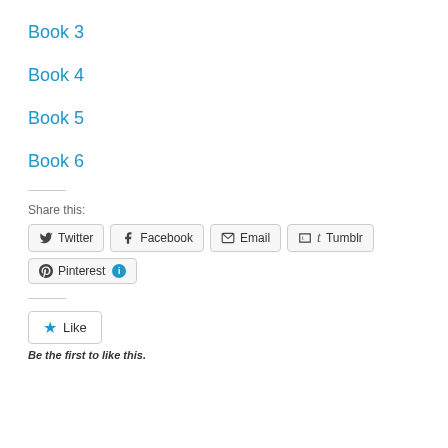Book 3
Book 4
Book 5
Book 6
Share this:
Twitter  Facebook  Email  Tumblr  Pinterest 1
Like  Be the first to like this.